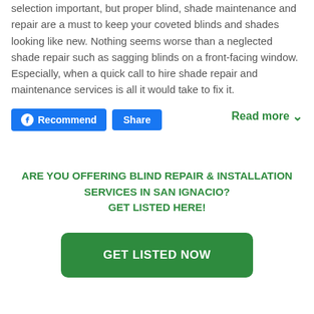selection important, but proper blind, shade maintenance and repair are a must to keep your coveted blinds and shades looking like new. Nothing seems worse than a neglected shade repair such as sagging blinds on a front-facing window. Especially, when a quick call to hire shade repair and maintenance services is all it would take to fix it.
[Figure (other): Facebook Recommend and Share buttons, and a Read more link with chevron]
ARE YOU OFFERING BLIND REPAIR & INSTALLATION SERVICES IN SAN IGNACIO? GET LISTED HERE!
[Figure (other): GET LISTED NOW green call-to-action button]